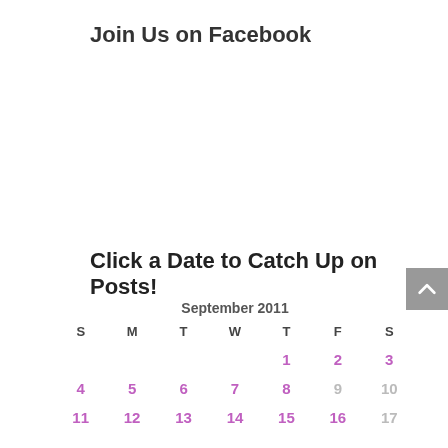Join Us on Facebook
Click a Date to Catch Up on Posts!
| S | M | T | W | T | F | S |
| --- | --- | --- | --- | --- | --- | --- |
|  |  |  |  | 1 | 2 | 3 |
| 4 | 5 | 6 | 7 | 8 | 9 | 10 |
| 11 | 12 | 13 | 14 | 15 | 16 | 17 |